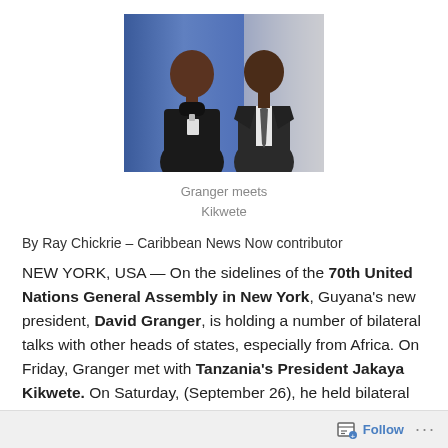[Figure (photo): Two men in dark suits posing together in front of a blue curtain backdrop. The man on the left wears a badge/lanyard. The man on the right wears a tie.]
Granger meets Kikwete
By Ray Chickrie – Caribbean News Now contributor
NEW YORK, USA — On the sidelines of the 70th United Nations General Assembly in New York, Guyana's new president, David Granger, is holding a number of bilateral talks with other heads of states, especially from Africa. On Friday, Granger met with Tanzania's President Jakaya Kikwete. On Saturday, (September 26), he held bilateral